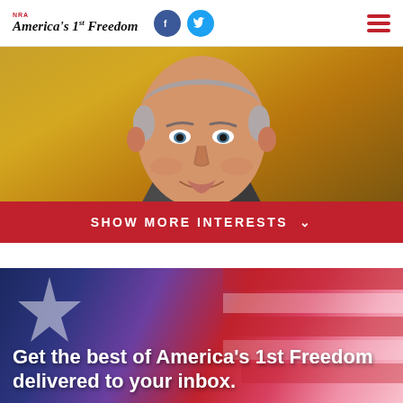NRA America's 1st Freedom
[Figure (photo): Portrait photograph of a middle-aged man in a grey suit and tie, with grey hair, smiling, against a golden/amber background. Below the photo is a red bar with 'SHOW MORE INTERESTS' text and a chevron icon.]
SHOW MORE INTERESTS ∨
[Figure (illustration): Newsletter signup banner with American flag-inspired background (blue, purple, red stripes with a star), and white bold text reading: Get the best of America's 1st Freedom delivered to your inbox.]
Get the best of America's 1st Freedom delivered to your inbox.